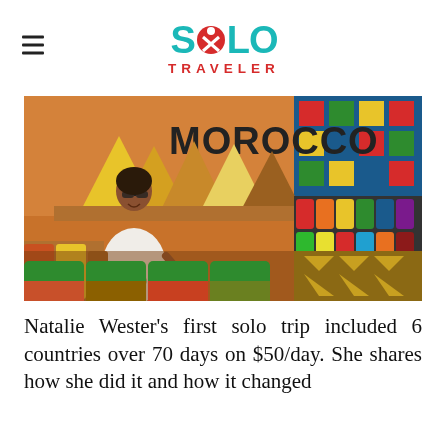[Figure (logo): Solo Traveler logo with teal SOLO text, red circle with X inside the O, and red TRAVELER text underneath]
[Figure (photo): Woman in white dress standing in front of colorful spice market stall in Morocco, with piles of spices and the word MOROCCO visible in the background]
Natalie Wester's first solo trip included 6 countries over 70 days on $50/day. She shares how she did it and how it changed